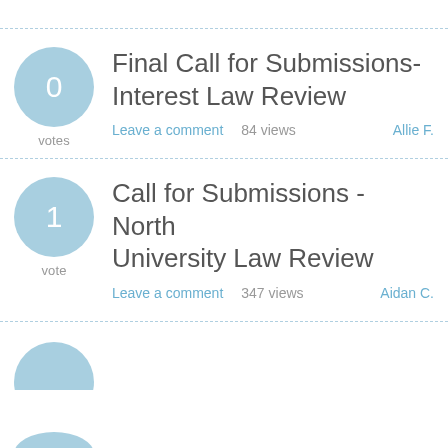Final Call for Submissions- Interest Law Review | 0 votes | Leave a comment | 84 views | Allie F.
Call for Submissions - North University Law Review | 1 vote | Leave a comment | 347 views | Aidan C.
(partial, cut off at bottom)